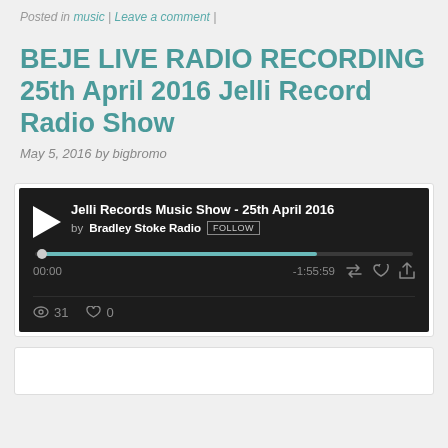Posted in music | Leave a comment |
BEJE LIVE RADIO RECORDING 25th April 2016 Jelli Record Radio Show
May 5, 2016 by bigbromo
[Figure (screenshot): SoundCloud audio player embed showing 'Jelli Records Music Show - 25th April 2016' by Bradley Stoke Radio. Player shows 00:00 elapsed, -1:55:59 remaining, progress bar at start, 31 listens, 0 likes.]